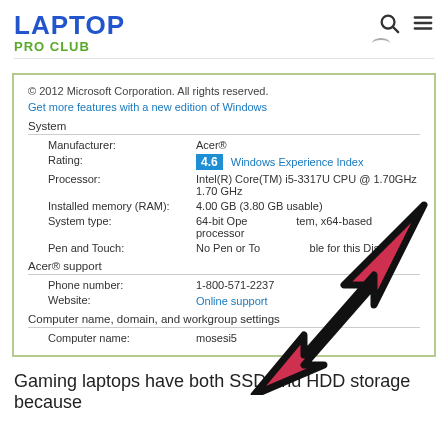LAPTOP
PRO CLUB
[Figure (screenshot): Windows System Properties screenshot showing: © 2012 Microsoft Corporation. All rights reserved. Get more features with a new edition of Windows. System section: Manufacturer: Acer®, Rating: 4.6 Windows Experience Index, Processor: Intel(R) Core(TM) i5-3317U CPU @ 1.70GHz 1.70 GHz, Installed memory (RAM): 4.00 GB (3.80 GB usable), System type: 64-bit Operating System x64-based processor, Pen and Touch: No Pen or Touch available for this Display. Acer® support section: Phone number: 1-800-571-2237, Website: Online support. Computer name domain and workgroup settings: Computer name: mosesi5. A large red arrow cursor overlay points to the upper right area.]
Gaming laptops have both SSD and HDD storage because